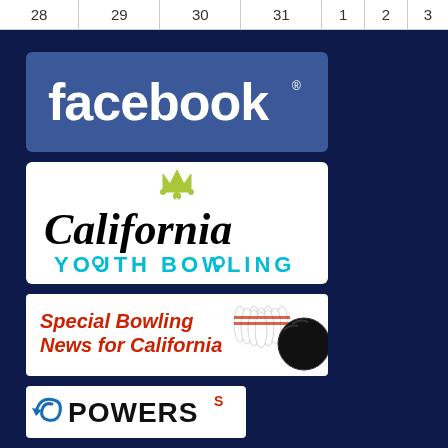| 28 | 29 | 30 | 31 | 1 | 2 | 3 |
| --- | --- | --- | --- | --- | --- | --- |
[Figure (logo): Facebook logo — white text 'facebook.' on blue background]
[Figure (logo): California Youth Bowling logo — stylized black script 'California' with lime green crown, and 'YOUTH BOWLING' in cyan below]
[Figure (logo): Special Bowling News for California logo — red italic text with bowling pins and ball graphic]
[Figure (logo): Powers logo — partial view, blue and black lettering]